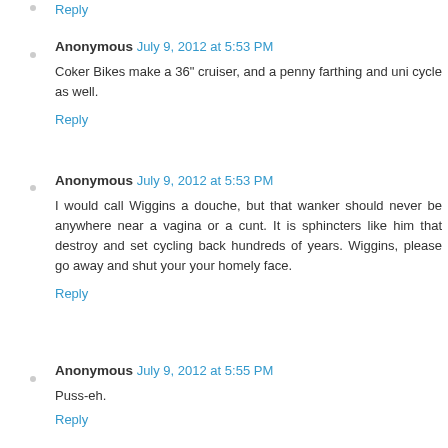Reply
Anonymous July 9, 2012 at 5:53 PM
Coker Bikes make a 36" cruiser, and a penny farthing and uni cycle as well.
Reply
Anonymous July 9, 2012 at 5:53 PM
I would call Wiggins a douche, but that wanker should never be anywhere near a vagina or a cunt. It is sphincters like him that destroy and set cycling back hundreds of years. Wiggins, please go away and shut your your homely face.
Reply
Anonymous July 9, 2012 at 5:55 PM
Puss-eh.
Reply